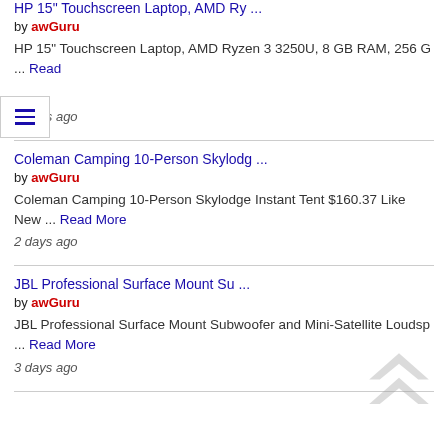HP 15" Touchscreen Laptop, AMD Ryzen 3 3250U, 8 GB RAM, 256 G ... Read
by awGuru
2 days ago
Coleman Camping 10-Person Skylodg ...
by awGuru
Coleman Camping 10-Person Skylodge Instant Tent $160.37 Like New ... Read More
2 days ago
JBL Professional Surface Mount Su ...
by awGuru
JBL Professional Surface Mount Subwoofer and Mini-Satellite Loudsp ... Read More
3 days ago